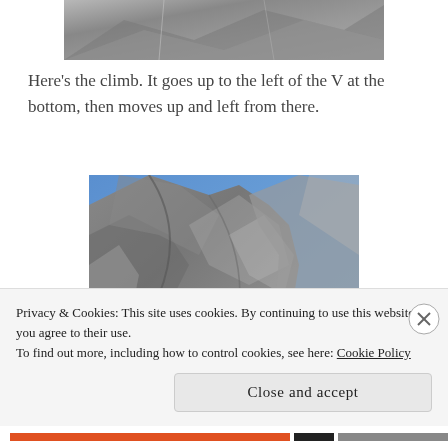[Figure (photo): Partial view of a rocky cliff face, cropped at top of page]
Here's the climb. It goes up to the left of the V at the bottom, then moves up and left from there.
[Figure (photo): Rock climbing wall — a tall rocky cliff with grey stone and blue sky visible in the background]
Privacy & Cookies: This site uses cookies. By continuing to use this website, you agree to their use.
To find out more, including how to control cookies, see here: Cookie Policy
Close and accept